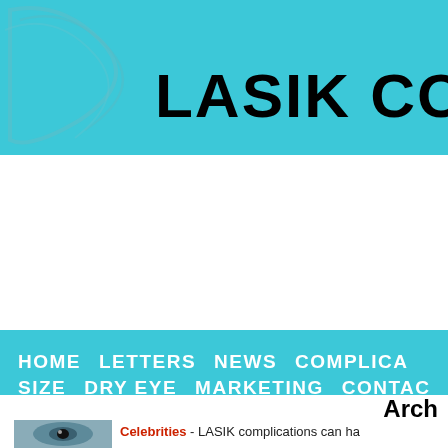LASIK COMP
HOME  LETTERS  NEWS  COMPLICA  SIZE  DRY EYE  MARKETING  CONTAC
Arch
[Figure (photo): Small thumbnail image of a person's eye]
Celebrities - LASIK complications can ha